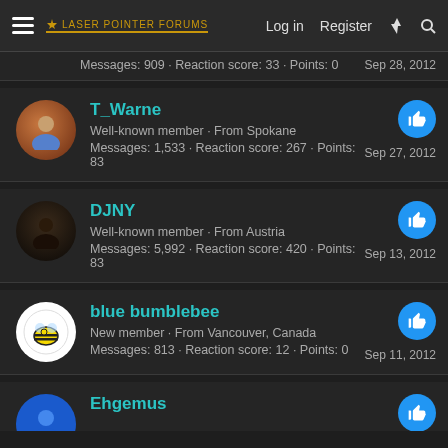Laser Pointer Forums — Log in  Register
Messages: 909 · Reaction score: 33 · Points: 0   Sep 28, 2012
T_Warne
Well-known member · From Spokane
Messages: 1,533 · Reaction score: 267 · Points: 83
Sep 27, 2012
DJNY
Well-known member · From Austria
Messages: 5,992 · Reaction score: 420 · Points: 83
Sep 13, 2012
blue bumblebee
New member · From Vancouver, Canada
Messages: 813 · Reaction score: 12 · Points: 0
Sep 11, 2012
Ehgemus